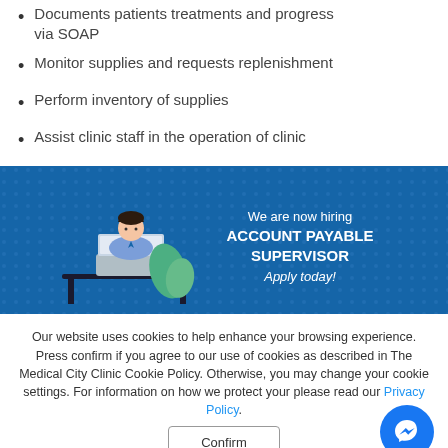Documents patients treatments and progress via SOAP
Monitor supplies and requests replenishment
Perform inventory of supplies
Assist clinic staff in the operation of clinic
[Figure (infographic): Blue banner with dotted background showing a cartoon person working at a laptop. Text reads: We are now hiring ACCOUNT PAYABLE SUPERVISOR Apply today!]
Our website uses cookies to help enhance your browsing experience. Press confirm if you agree to our use of cookies as described in The Medical City Clinic Cookie Policy. Otherwise, you may change your cookie settings. For information on how we protect your please read our Privacy Policy.
Confirm